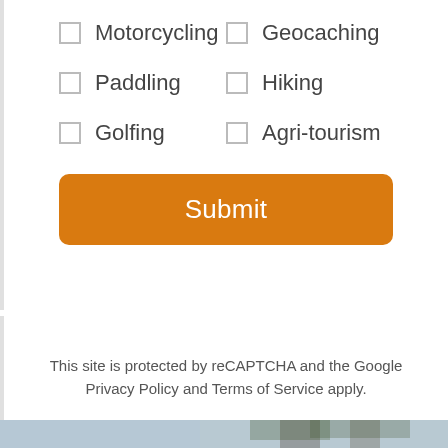Motorcycling
Geocaching
Paddling
Hiking
Golfing
Agri-tourism
Submit
This site is protected by reCAPTCHA and the Google Privacy Policy and Terms of Service apply.
[Figure (photo): Nature photo showing birch trees from below against a sky background with green foliage]